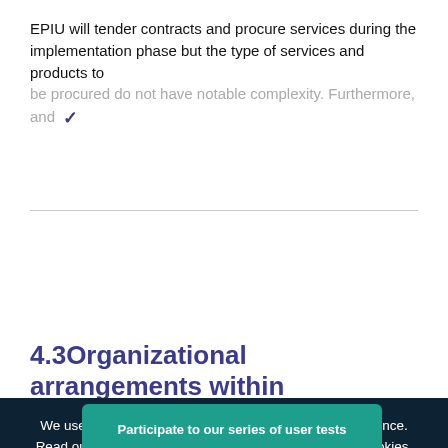EPIU will tender contracts and procure services during the implementation phase but the type of services and products to be procured do not have notable complexity. Furthermore, and
4.3Organizational arrangements within
We use cookies on this site to enhance your user experience. Read our legal notice to learn more about how we use cookies.
Legal notice
Participate to our series of user tests
Reply